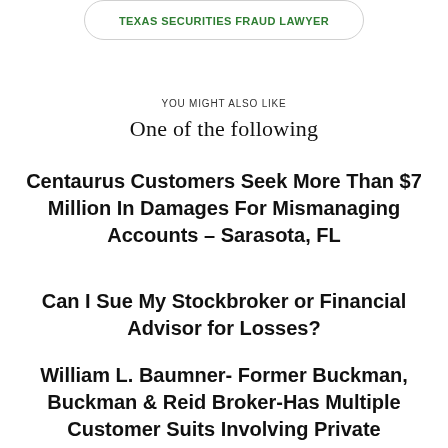[Figure (other): Button with rounded border and green text reading TEXAS SECURITIES FRAUD LAWYER]
YOU MIGHT ALSO LIKE
One of the following
Centaurus Customers Seek More Than $7 Million In Damages For Mismanaging Accounts – Sarasota, FL
Can I Sue My Stockbroker or Financial Advisor for Losses?
William L. Baumner- Former Buckman, Buckman & Reid Broker-Has Multiple Customer Suits Involving Private Placements